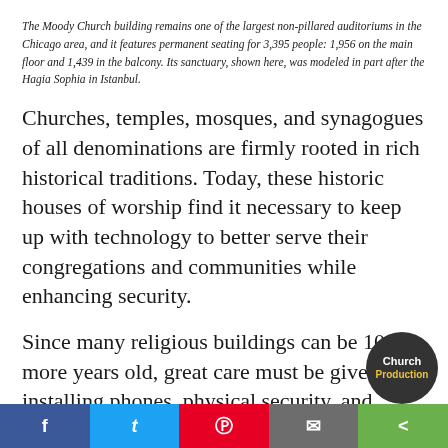The Moody Church building remains one of the largest non-pillared auditoriums in the Chicago area, and it features permanent seating for 3,395 people: 1,956 on the main floor and 1,439 in the balcony. Its sanctuary, shown here, was modeled in part after the Hagia Sophia in Istanbul.
Churches, temples, mosques, and synagogues of all denominations are firmly rooted in rich historical traditions. Today, these historic houses of worship find it necessary to keep up with technology to better serve their congregations and communities while enhancing security.
Since many religious buildings can be 100 or more years old, great care must be given to installing phones, physical security, and network systems while preserving historic structures.
f  t  p  [email]  share